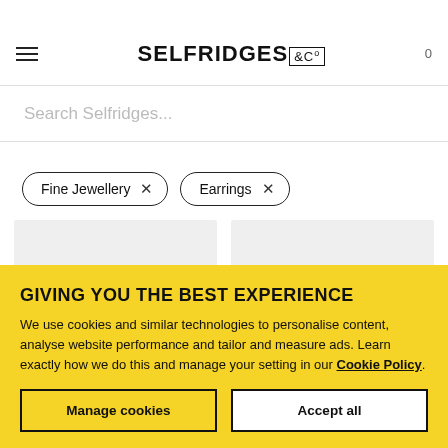Selfridges & Co
Search Selfridges...
Fine Jewellery ×
Earrings ×
[Figure (screenshot): Two product image placeholders shown as light grey rectangles in a two-column grid layout]
GIVING YOU THE BEST EXPERIENCE
We use cookies and similar technologies to personalise content, analyse website performance and tailor and measure ads. Learn exactly how we do this and manage your setting in our Cookie Policy.
Manage cookies
Accept all